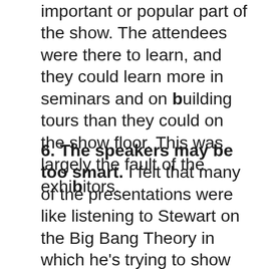important or popular part of the show. The attendees were there to learn, and they could learn more in seminars and on building tours than they could on the show floor. This was largely the fault of the exhibitors.
6. The speakers may be too smart. I felt that many of the presentations were like listening to Stewart on the Big Bang Theory in which he's trying to show how smart he is rather than attempting to communicate or educate. The danger here is that Greenbuild may limit its growth by only appealing to